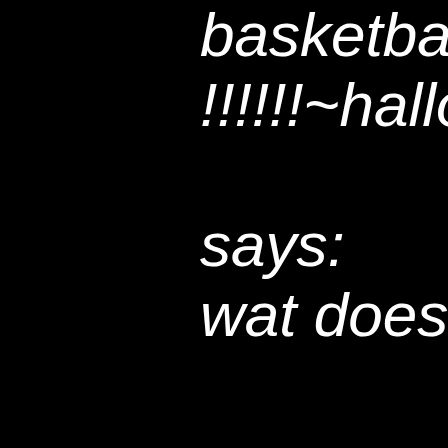basketball try !!!!!!~hallowe says: wat does he ΨΈϮΨ Pardo above the fla a lot